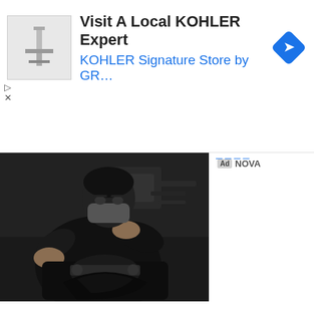[Figure (screenshot): Advertisement banner for KOHLER: thumbnail image of KOHLER product on left, text 'Visit A Local KOHLER Expert' in bold black and 'KOHLER Signature Store by GR...' in blue, blue diamond navigation icon on right, play and close controls on left side]
[Figure (photo): Photo of a masked mechanic/technician working on a vehicle engine or mechanical component, wearing a dark shirt and face mask, hands visible working on dark machinery]
Ad NOVA